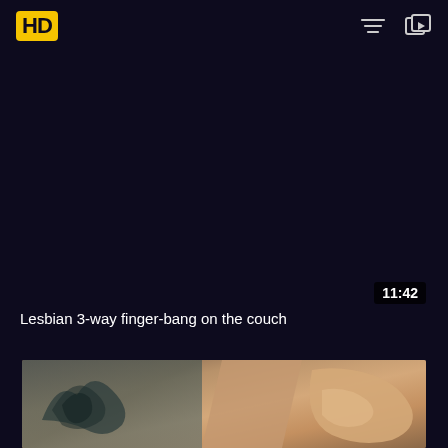[Figure (logo): HD logo in yellow box with dark background, filter icon, and playlist icon in header]
[Figure (screenshot): Dark navy video player area showing timestamp 11:42 in bottom right]
11:42
Lesbian 3-way finger-bang on the couch
[Figure (photo): Thumbnail image showing close-up of hands with tattoo visible]